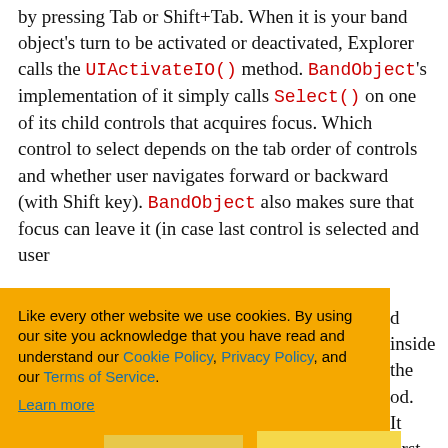by pressing Tab or Shift+Tab. When it is your band object's turn to be activated or deactivated, Explorer calls the UIActivateIO() method. BandObject's implementation of it simply calls Select() on one of its child controls that acquires focus. Which control to select depends on the tab order of controls and whether user navigates forward or backward (with Shift key). BandObject also makes sure that focus can leave it (in case last control is selected and user ... d inside the ... od. It first ... essed. Then ... tries to move ... using the ... e last ... s false as we ... rever (from last ... ext control we
[Figure (other): Cookie consent banner with orange background overlaying the text. Contains text: 'Like every other website we use cookies. By using our site you acknowledge that you have read and understand our Cookie Policy, Privacy Policy, and our Terms of Service. Learn more'. Buttons: 'Ask me later', 'Decline', 'Allow cookies'.]